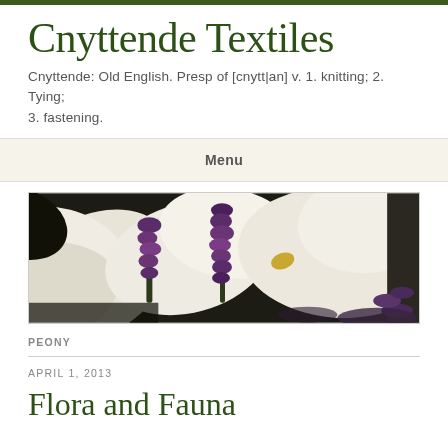Cnyttende Textiles
Cnyttende: Old English. Presp of [cnytt|an] v. 1. knitting; 2. Tying; 3. fastening.
Menu
[Figure (photo): Close-up photograph of white knitted flowers (resembling calla lilies) with dark purple lavender sprigs, on a dark background.]
PEONY
APRIL 1, 2013
Flora and Fauna